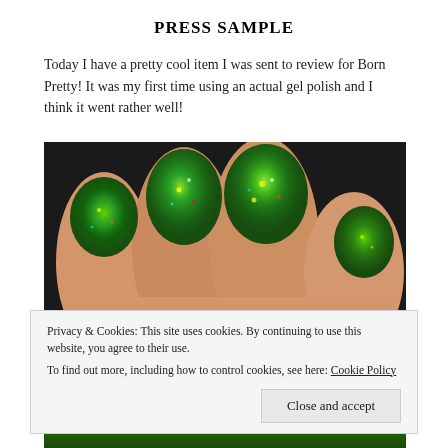PRESS SAMPLE
Today I have a pretty cool item I was sent to review for Born Pretty! It was my first time using an actual gel polish and I think it went rather well!
[Figure (photo): Close-up photo of a hand with nails painted in green holographic glitter gel polish, showing four fingers against a dark background.]
Privacy & Cookies: This site uses cookies. By continuing to use this website, you agree to their use.
To find out more, including how to control cookies, see here: Cookie Policy
Close and accept